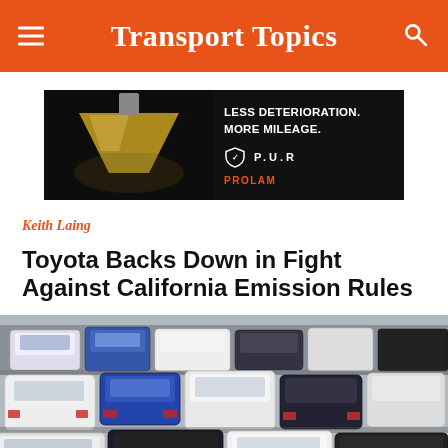Transport Topics
[Figure (photo): Advertisement banner: dark background with a lamp image on the left side, text on the right reading LESS DETERIORATION. MORE MILEAGE. P.U.R PROLAM]
Keith Laing
Toyota Backs Down in Fight Against California Emission Rules
[Figure (photo): Aerial or elevated view of a large parking lot filled with many cars packed closely together, including white, blue, and dark colored vehicles.]